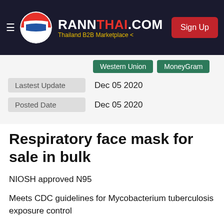[Figure (logo): RANNTHAI.COM Thailand B2B Marketplace logo with Thai flag globe icon and Sign Up button on dark header]
| Lastest Update | Dec 05 2020 |
| Posted Date | Dec 05 2020 |
Respiratory face mask for sale in bulk
NIOSH approved N95
Meets CDC guidelines for Mycobacterium tuberculosis exposure control
FDA cleared for use as a surgical mask